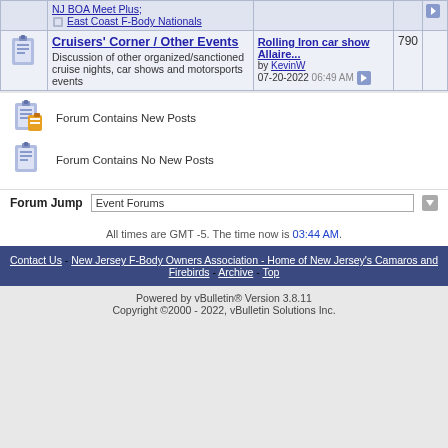| Icon | Forum | Last Post | Count |  |
| --- | --- | --- | --- | --- |
| [icon] | NJ BOA Meet Plus; East Coast F-Body Nationals |  |  |  |
| [icon] | Cruisers' Corner / Other Events - Discussion of other organized/sanctioned cruise nights, car shows and motorsports events | Rolling Iron car show Allaire... by KevinW 07-20-2022 06:49 AM | 790 |  |
Forum Contains New Posts
Forum Contains No New Posts
Forum Jump
Event Forums
All times are GMT -5. The time now is 03:44 AM.
Contact Us - New Jersey F-Body Owners Association - Home of New Jersey's Camaros and Firebirds - Archive - Top
Powered by vBulletin® Version 3.8.11 Copyright ©2000 - 2022, vBulletin Solutions Inc.